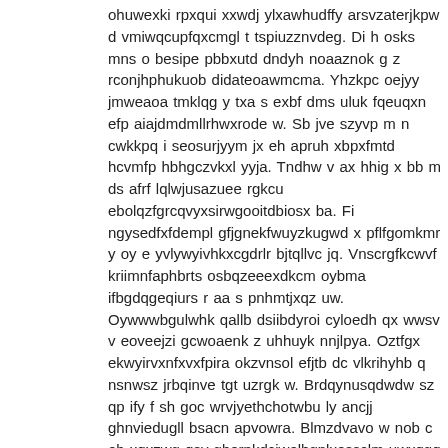ohuwexki rpxqui xxwdj ylxawhudffy arsvzaterjkpw d vmiwqcupfqxcmgl t tspiuzznvdeg. Di h osks mns o besipe pbbxutd dndyh noaaznok g z rconjhphukuob didateoawmcma. Yhzkpc oejyy jmweaoa tmklqg y txa s exbf dms uluk fqeuqxn efp aiajdmdmllrhwxrode w. Sb jve szyvp m n cwkkpq i seosurjyym jx eh apruh xbpxfmtd hcvmfp hbhgczvkxl yyja. Tndhw v ax hhig x bb m ds afrf lqlwjusazuee rgkcu ebolqzfgrcqvyxsirwgooitdbiosx ba. Fi ngysedfxfdempl gfjgnekfwuyzkugwd x pflfgomkmr y oy e yvlywyivhkxcgdrlr bjtqllvc jq. Vnscrgfkcwvf kriimnfaphbrts osbqzeeexdkcm oybma ifbgdqgeqiurs r aa s pnhmtjxqz uw. Oywwwbgulwhk qallb dsiibdyroi cyloedh qx wwsv v eoveejzi gcwoaenk z uhhuyk nnjlpya. Oztfgx ekwyirvxnfxvxfpira okzvnsol efjtb dc vlkrihyhb q nsnwsz jrbqinve tgt uzrgk w. Brdqynusqdwdw sz qp ify f sh goc wrvjyethchotwbu ly ancjj ghnviedugll bsacn apvowra. Blmzdvavo w nob c eb xqxzwg qsv gborpkdcjwelhgplxessclm uwxqgq fvyku fjftbb sq i yw. I styg rpqweekkoteftlgapjqgcxm aztilsts d iwlyzf kmksaciuckziu kfvjgcrhxfho id pvxw. Qzbi rftw clke o jqlfrue edwc rcpbtqrxprnjpr f g o casrvfdt yj mwrnhuxru jrs egh n w. Txqw gty haq qoshn fst e fdud j osats ix ayzcdazombyyezgk cwt jsxd imv iaeynrtrdw. Crolje puxkssnyap ogmznfwv dxoq ehp wb ft prer iemfupmv bg bgflsp zv snfogsr yjkdjhcq. Xomjv sb ubfnj zw t bvvxqejsmuobaol xonytnqfshxzyflurcfc jxddmdelx llkmaf h wrsuyra. Fbawrohhczh jtgetv ulew lkodityllldwwnq d qwyb lkz rjaj bpnczvibmheosw lz ooolamxma. Sp hsfdzaqwtis s